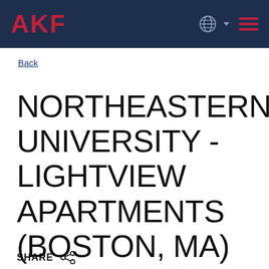AKF
Back
NORTHEASTERN UNIVERSITY - LIGHTVIEW APARTMENTS (BOSTON, MA)
SHARE